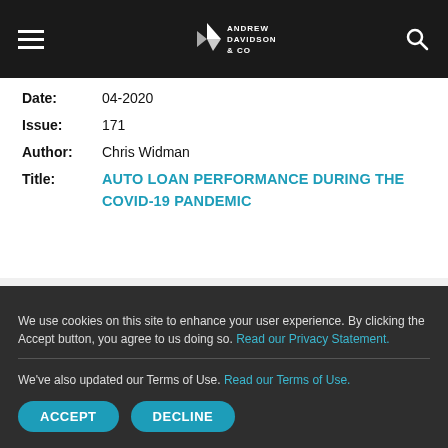Andrew Davidson & Co
Date: 04-2020
Issue: 171
Author: Chris Widman
Title: AUTO LOAN PERFORMANCE DURING THE COVID-19 PANDEMIC
Date: 04-2020
Issue: 171
Author: (partially visible)
We use cookies on this site to enhance your user experience. By clicking the Accept button, you agree to us doing so. Read our Privacy Statement.
We've also updated our Terms of Use. Read our Terms of Use.